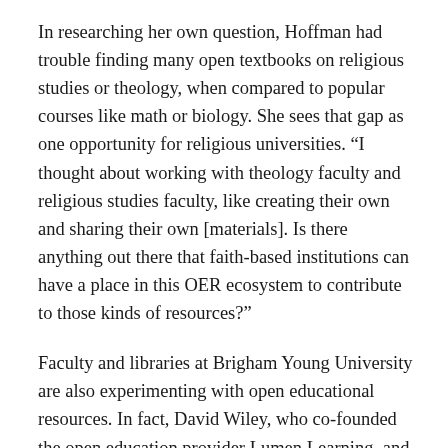In researching her own question, Hoffman had trouble finding many open textbooks on religious studies or theology, when compared to popular courses like math or biology. She sees that gap as one opportunity for religious universities. “I thought about working with theology faculty and religious studies faculty, like creating their own and sharing their own [materials]. Is there anything out there that faith-based institutions can have a place in this OER ecosystem to contribute to those kinds of resources?”
Faculty and libraries at Brigham Young University are also experimenting with open educational resources. In fact, David Wiley, who co-founded the open education provider Lumen Learning, and also